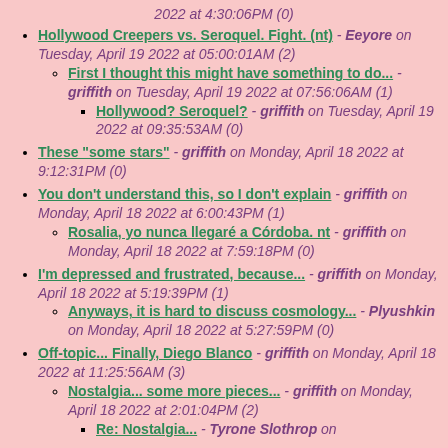2022 at 4:30:06PM (0)
Hollywood Creepers vs. Seroquel. Fight. (nt) - Eeyore on Tuesday, April 19 2022 at 05:00:01AM (2)
First I thought this might have something to do... - griffith on Tuesday, April 19 2022 at 07:56:06AM (1)
Hollywood? Seroquel? - griffith on Tuesday, April 19 2022 at 09:35:53AM (0)
These "some stars" - griffith on Monday, April 18 2022 at 9:12:31PM (0)
You don't understand this, so I don't explain - griffith on Monday, April 18 2022 at 6:00:43PM (1)
Rosalia, yo nunca llegaré a Córdoba. nt - griffith on Monday, April 18 2022 at 7:59:18PM (0)
I'm depressed and frustrated, because... - griffith on Monday, April 18 2022 at 5:19:39PM (1)
Anyways, it is hard to discuss cosmology... - Plyushkin on Monday, April 18 2022 at 5:27:59PM (0)
Off-topic... Finally, Diego Blanco - griffith on Monday, April 18 2022 at 11:25:56AM (3)
Nostalgia... some more pieces... - griffith on Monday, April 18 2022 at 2:01:04PM (2)
Re: Nostalgia... - Tyrone Slothrop on